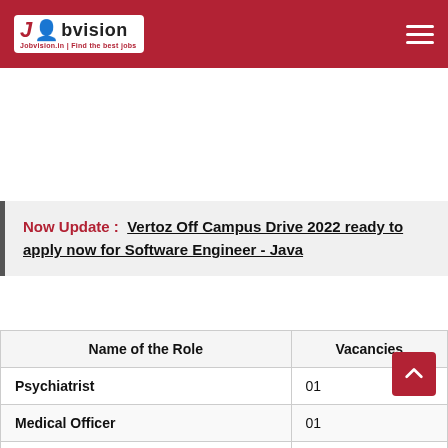Jobvision | Find the best jobs
Now Update : Vertoz Off Campus Drive 2022 ready to apply now for Software Engineer - Java
| Name of the Role | Vacancies |
| --- | --- |
| Psychiatrist | 01 |
| Medical Officer | 01 |
| Nurse | 02 |